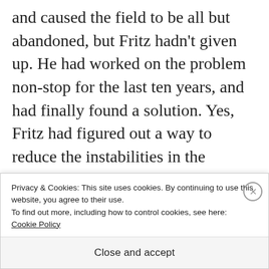and caused the field to be all but abandoned, but Fritz hadn't given up. He had worked on the problem non-stop for the last ten years, and had finally found a solution. Yes, Fritz had figured out a way to reduce the instabilities in the gateways by a factor of a hundred – which should be enough to make small gateways a viable proposition. He had run through
Privacy & Cookies: This site uses cookies. By continuing to use this website, you agree to their use.
To find out more, including how to control cookies, see here:
Cookie Policy
Close and accept